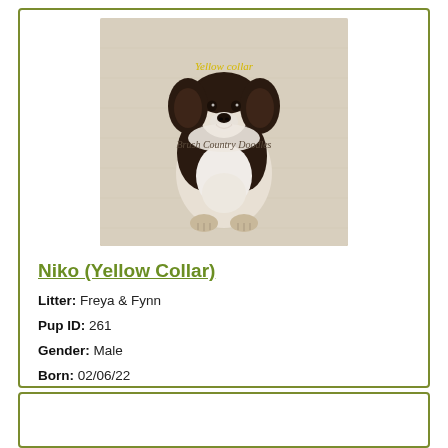[Figure (photo): Photo of a black and white puppy (Bernedoodle/Sheepadoodle type) sitting upright on a cream textured blanket. Watermark text 'Yellow collar' in yellow italic at top center, and 'Brush Country Doodles' in dark italic below center.]
Niko (Yellow Collar)
Litter: Freya & Fynn
Pup ID: 261
Gender: Male
Born: 02/06/22
Availability: Sold